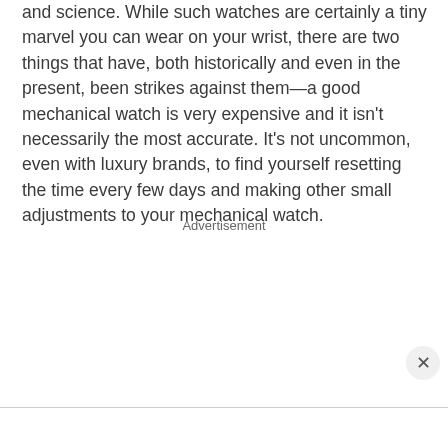and science. While such watches are certainly a tiny marvel you can wear on your wrist, there are two things that have, both historically and even in the present, been strikes against them—a good mechanical watch is very expensive and it isn't necessarily the most accurate. It's not uncommon, even with luxury brands, to find yourself resetting the time every few days and making other small adjustments to your mechanical watch.
Advertisement